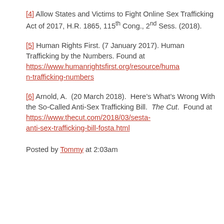[4] Allow States and Victims to Fight Online Sex Trafficking Act of 2017, H.R. 1865, 115th Cong., 2nd Sess. (2018).
[5] Human Rights First. (7 January 2017). Human Trafficking by the Numbers. Found at https://www.humanrightsfirst.org/resource/human-trafficking-numbers
[6] Arnold, A. (20 March 2018). Here’s What’s Wrong With the So-Called Anti-Sex Trafficking Bill. The Cut. Found at https://www.thecut.com/2018/03/sesta-anti-sex-trafficking-bill-fosta.html
Posted by Tommy at 2:03am